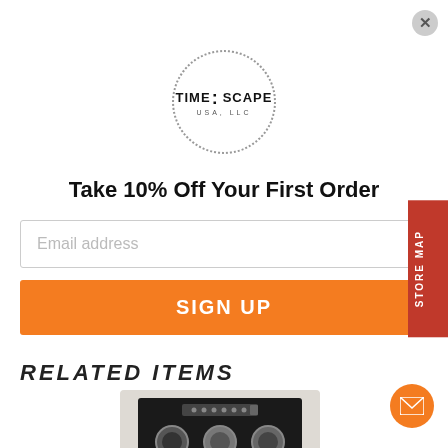[Figure (logo): Time:Scape USA LLC circular dotted logo]
Take 10% Off Your First Order
Email address
SIGN UP
RELATED ITEMS
[Figure (photo): Watch winder safe cabinet product image with Timescape orange logo overlay]
STORE MAP
[Figure (other): Email contact button (orange circle with envelope icon)]